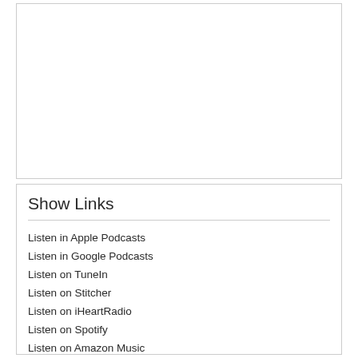[Figure (other): Empty white box area, likely a media player or image placeholder]
Show Links
Listen in Apple Podcasts
Listen in Google Podcasts
Listen on TuneIn
Listen on Stitcher
Listen on iHeartRadio
Listen on Spotify
Listen on Amazon Music
Like us on FaceBook
Connect on LinkedIn